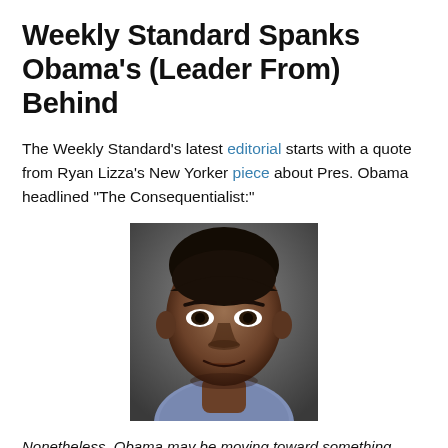Weekly Standard Spanks Obama’s (Leader From) Behind
The Weekly Standard’s latest editorial starts with a quote from Ryan Lizza’s New Yorker piece about Pres. Obama headlined “The Consequentialist:”
[Figure (photo): Close-up portrait photo of President Barack Obama against a dark grey background, wearing a light blue shirt, looking directly at the camera with a serious expression.]
Nonetheless, Obama may be moving toward something resembling a doctrine. One of his advisers described the president’s actions in Libya as “leading from behind.”